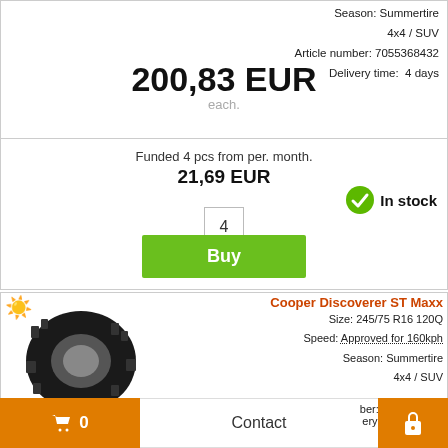Season: Summertire
4x4 / SUV
Article number: 7055368432
Delivery time: 4 days
200,83 EUR
each.
Funded 4 pcs from per. month.
21,69 EUR
4
In stock
Buy
[Figure (photo): Cooper Discoverer ST Maxx tire product image with sun season icon and two star rating]
Cooper Discoverer ST Maxx
Size: 245/75 R16 120Q
Speed: Approved for 160kph
Season: Summertire
4x4 / SUV
Article number: 7055265777
Delivery time: 4 days
F   C   76dB
0   Contact